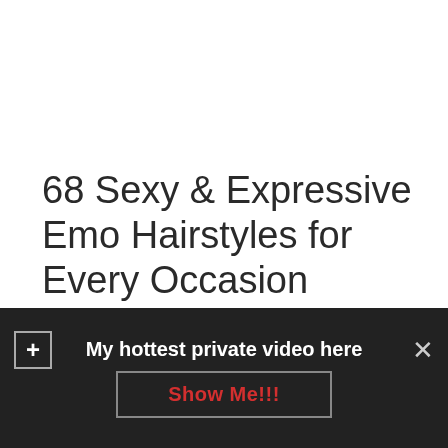68 Sexy & Expressive Emo Hairstyles for Every Occasion
Medium Blonde Emo Hairstyles for Girls. To create this hairstyle, it is necessary to use strong hold wax or mousse. Regita March 4, at Emo hair is usually blackbut it
[Figure (other): Dark overlay advertisement bar with a plus button on the left, close X button on the right, the text 'My hottest private video here' in white, and a 'Show Me!!!' button in red text with a border.]